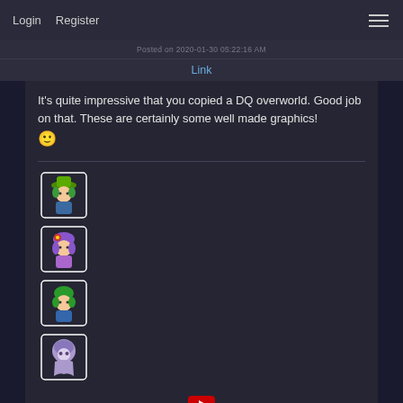Login   Register
Posted on 2020-01-30 05:22:16 AM
Link
It's quite impressive that you copied a DQ overworld. Good job on that. These are certainly some well made graphics! 🙂
[Figure (illustration): Four pixel-art character sprites stacked vertically on the left side]
[Figure (other): YouTube play button icon centered near bottom]